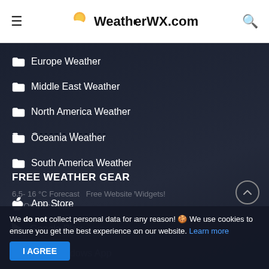WeatherWX.com
Europe Weather
Middle East Weather
North America Weather
Oceania Weather
South America Weather
FREE WEATHER GEAR
App Store
Google Play
Free Windows App
We do not collect personal data for any reason! 🍪 We use cookies to ensure you get the best experience on our website. Learn more
I AGREE